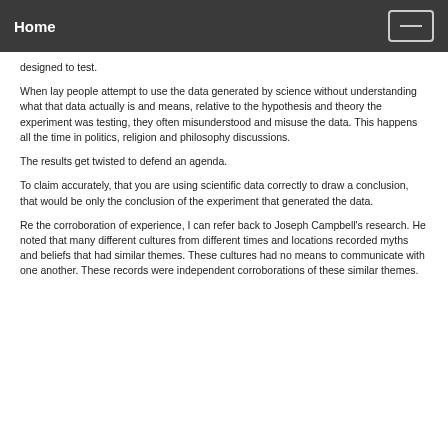Home
designed to test.
When lay people attempt to use the data generated by science without understanding what that data actually is and means, relative to the hypothesis and theory the experiment was testing, they often misunderstood and misuse the data. This happens all the time in politics, religion and philosophy discussions.
The results get twisted to defend an agenda.
To claim accurately, that you are using scientific data correctly to draw a conclusion, that would be only the conclusion of the experiment that generated the data.
Re the corroboration of experience, I can refer back to Joseph Campbell's research. He noted that many different cultures from different times and locations recorded myths and beliefs that had similar themes. These cultures had no means to communicate with one another. These records were independent corroborations of these similar themes.